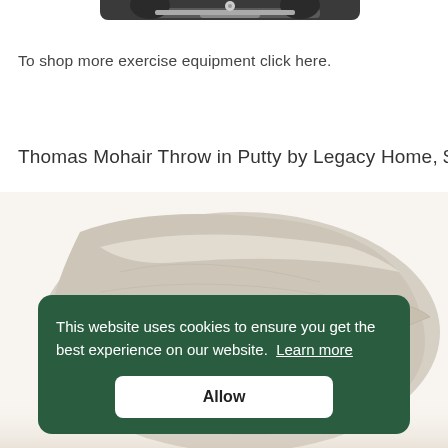[Figure (photo): Partial view of exercise equipment (rowing machine or similar) shown from above, dark metal frame with silver accents, cut off at top of page]
To shop more exercise equipment click here.
Thomas Mohair Throw in Putty by Legacy Home, $210
[Figure (photo): Folded cream/putty colored mohair throw blanket with textured surface, partially obscured by cookie consent banner]
This website uses cookies to ensure you get the best experience on our website.  Learn more
Allow